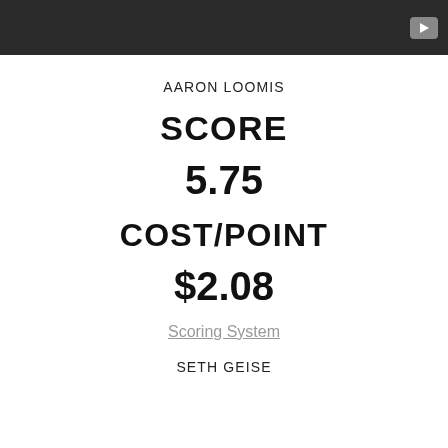[Figure (screenshot): Dark video player bar at top with a play button icon on the right side]
AARON LOOMIS
SCORE
5.75
COST/POINT
$2.08
Scoring System
SETH GEISE